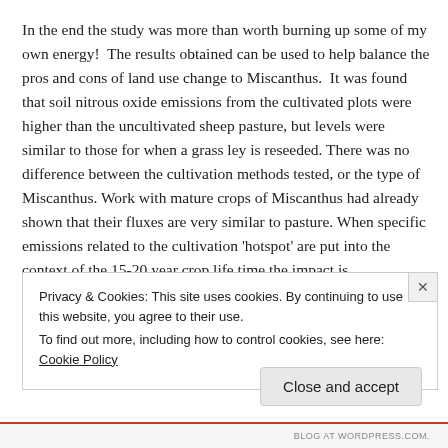In the end the study was more than worth burning up some of my own energy!  The results obtained can be used to help balance the pros and cons of land use change to Miscanthus.  It was found that soil nitrous oxide emissions from the cultivated plots were higher than the uncultivated sheep pasture, but levels were similar to those for when a grass ley is reseeded. There was no difference between the cultivation methods tested, or the type of Miscanthus. Work with mature crops of Miscanthus had already shown that their fluxes are very similar to pasture. When specific emissions related to the cultivation 'hotspot' are put into the context of the 15-20 year crop life time the impact is
Privacy & Cookies: This site uses cookies. By continuing to use this website, you agree to their use.
To find out more, including how to control cookies, see here: Cookie Policy
Close and accept